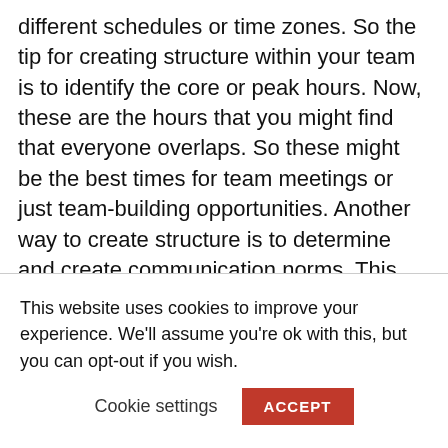different schedules or time zones. So the tip for creating structure within your team is to identify the core or peak hours. Now, these are the hours that you might find that everyone overlaps. So these might be the best times for team meetings or just team-building opportunities. Another way to create structure is to determine and create communication norms. This also includes the response time. So you might think about email and say, we can send emails. I want you to check emails, but only during these certain hours. And then also, I
This website uses cookies to improve your experience. We'll assume you're ok with this, but you can opt-out if you wish.
Cookie settings   ACCEPT